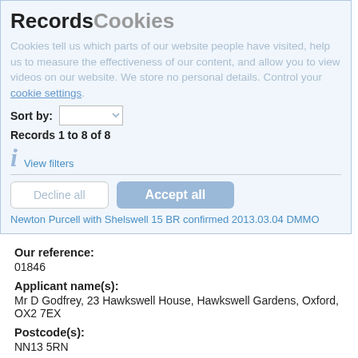RecordsCookies
Cookies tell us which parts of our website people have visited, help us to measure the effectiveness of our content, and allow you to view videos on our website. We store no personal details. Control your cookie settings.
Sort by:
Records 1 to 8 of 8
View filters
Newton Purcell with Shelswell 15 BR confirmed 2013.03.04 DMMO
Our reference:
01846
Applicant name(s):
Mr D Godfrey, 23 Hawkswell House, Hawkswell Gardens, Oxford, OX2 7EX
Postcode(s):
NN13 5RN